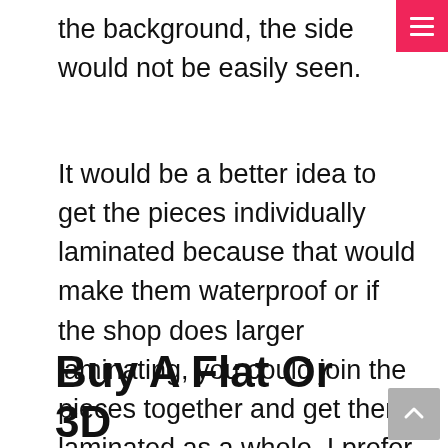the background, the side would not be easily seen.
It would be a better idea to get the pieces individually laminated because that would make them waterproof or if the shop does larger laminating, you could join the pieces together and get them laminated as a whole. I prefer doing the latter because laminating them individually can make the joints be seen.
Buy A Flat Or 3D